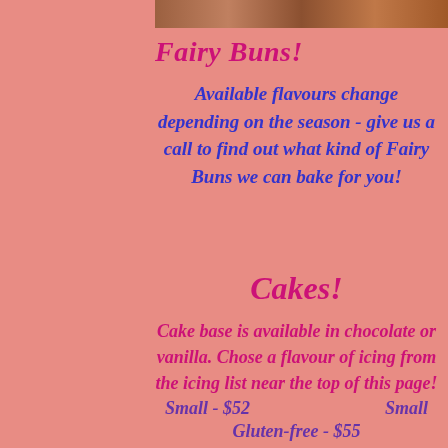[Figure (photo): Top photo strip of fairy buns/baked goods]
Fairy Buns!
Available flavours change depending on the season - give us a call to find out what kind of Fairy Buns we can bake for you!
Cakes!
Cake base is available in chocolate or vanilla. Chose a flavour of icing from the icing list near the top of this page!
Small - $52        Small
Gluten-free - $55